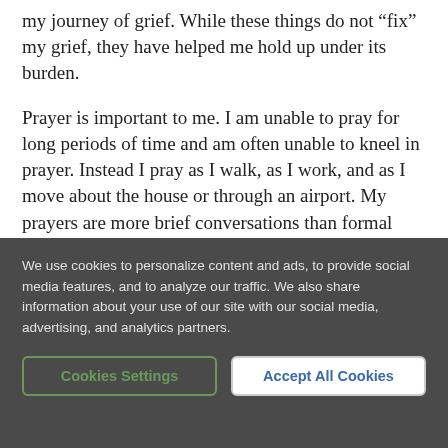my journey of grief. While these things do not “fix” my grief, they have helped me hold up under its burden.
Prayer is important to me. I am unable to pray for long periods of time and am often unable to kneel in prayer. Instead I pray as I walk, as I work, and as I move about the house or through an airport. My prayers are more brief conversations than formal petitions. Dwight L. Moody, the 19th-century U.S.
We use cookies to personalize content and ads, to provide social media features, and to analyze our traffic. We also share information about your use of our site with our social media, advertising, and analytics partners.
Cookies Settings
Accept All Cookies